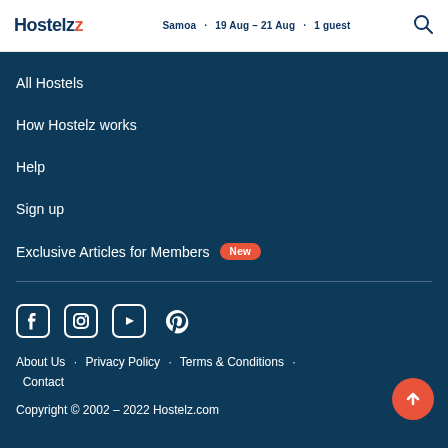Hostelz · Samoa · 19 Aug – 21 Aug · 1 guest
All Hostels
How Hostelz works
Help
Sign up
Exclusive Articles for Members New
About Us · Privacy Policy · Terms & Conditions · Contact
Copyright © 2002 – 2022 Hostelz.com